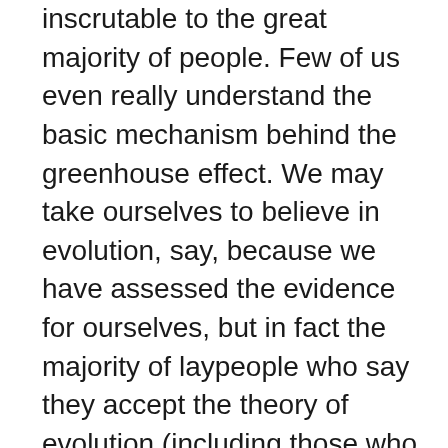inscrutable to the great majority of people. Few of us even really understand the basic mechanism behind the greenhouse effect. We may take ourselves to believe in evolution, say, because we have assessed the evidence for ourselves, but in fact the majority of laypeople who say they accept the theory of evolution (including those who have taken some college courses on it) have badly mistaken beliefs about it.

Instead, we take the message on trust: we trust that science is well-ordered, that the data is reported responsibly and that the institutions of science work to catch errors